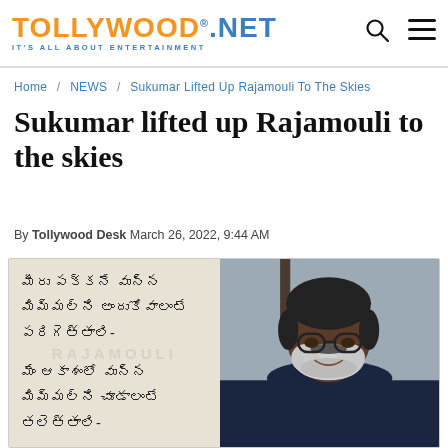TOLLYWOOD.NET IT'S ALL ABOUT ENTERTAINMENT
Home / NEWS / Sukumar Lifted Up Rajamouli To The Skies
Sukumar lifted up Rajamouli to the skies
By Tollywood Desk March 26, 2022, 9:44 AM
[Figure (photo): Split image: left side shows Telugu text on a light beige background with a faint RAJAMOULI watermark; right side shows a photo of a bearded man with glasses]